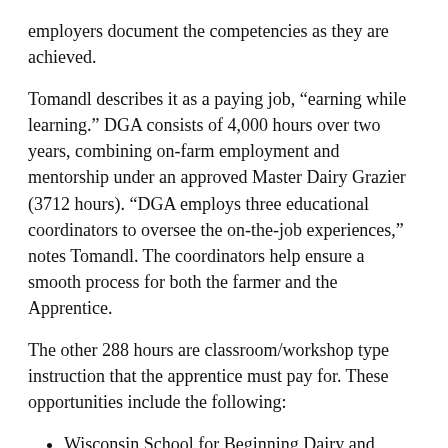employers document the competencies as they are achieved.
Tomandl describes it as a paying job, “earning while learning.” DGA consists of 4,000 hours over two years, combining on-farm employment and mentorship under an approved Master Dairy Grazier (3712 hours). “DGA employs three educational coordinators to oversee the on-the-job experiences,” notes Tomandl. The coordinators help ensure a smooth process for both the farmer and the Apprentice.
The other 288 hours are classroom/workshop type instruction that the apprentice must pay for. These opportunities include the following:
Wisconsin School for Beginning Dairy and Livestock Farmers (at several distance-learning locations).
Classes in dairy/pasture management offered online and in seminar format.